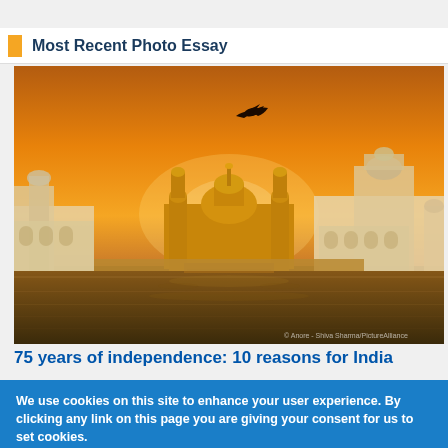Most Recent Photo Essay
[Figure (photo): Golden Temple (Harmandir Sahib) in Amritsar, India at sunset with an orange sky and a bird flying overhead, reflected in the surrounding water. Watermark text visible in bottom right corner.]
75 years of independence: 10 reasons for India
We use cookies on this site to enhance your user experience. By clicking any link on this page you are giving your consent for us to set cookies. More info
OK, I agree   Decline